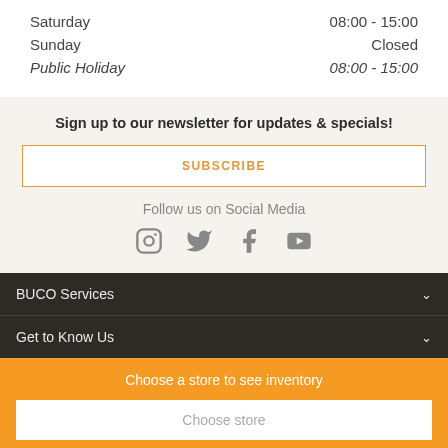| Day | Hours |
| --- | --- |
| Saturday | 08:00 - 15:00 |
| Sunday | Closed |
| Public Holiday | 08:00 - 15:00 |
Sign up to our newsletter for updates & specials!
SUBSCRIBE
Follow us on Social Media
[Figure (infographic): Social media icons: Instagram, Twitter, Facebook, YouTube]
BUCO Services
Get to Know Us
Choose a store to see inventory
Choose store